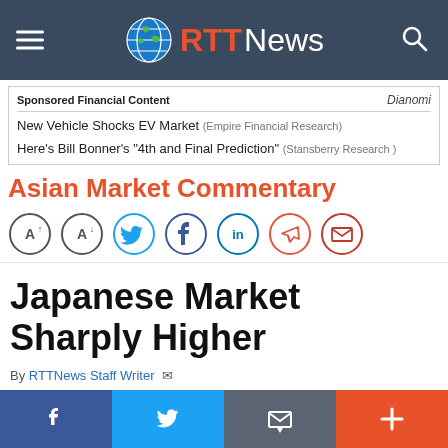RTTNews
Sponsored Financial Content | Dianomi
New Vehicle Shocks EV Market (Empire Financial Research)
Here's Bill Bonner's "4th and Final Prediction" (Stansberry Research)
Asian Market Commentary
[Figure (other): Social sharing icon buttons: font size increase, font size decrease, Twitter, Facebook, LinkedIn, Telegram, Email]
Japanese Market Sharply Higher
By RTTNews Staff Writer
[Figure (other): Bottom social share bar with Facebook, Twitter, Email/Newsletter, and plus buttons]